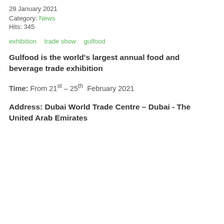29 January 2021
Category: News
Hits: 345
exhibition   trade show   gulfood
Gulfood is the world's largest annual food and beverage trade exhibition
Time: From 21st – 25th February 2021
Address: Dubai World Trade Centre – Dubai - The United Arab Emirates